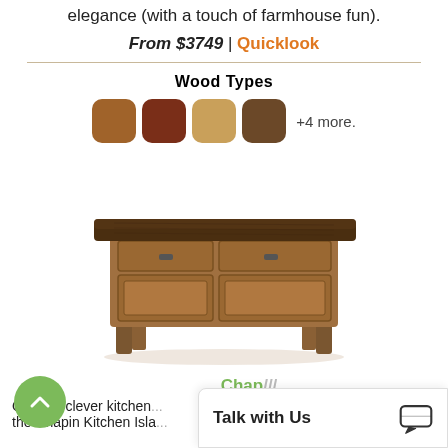elegance (with a touch of farmhouse fun).
From $3749 | Quicklook
Wood Types
[Figure (photo): Wooden kitchen island cabinet with dark top, two drawers with metal pulls, two cabinet doors, and four legs in a farmhouse style.]
Chap...
Offering clever kitchen... the Chapin Kitchen Isla...
Talk with Us